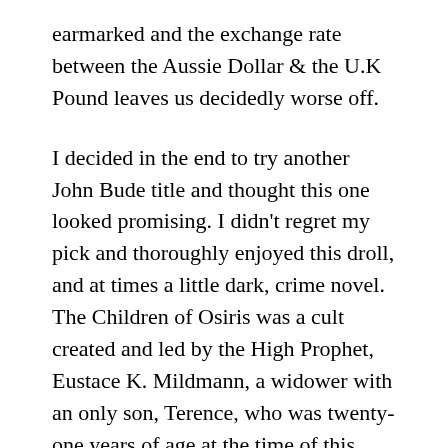earmarked and the exchange rate between the Aussie Dollar & the U.K Pound leaves us decidedly worse off.
I decided in the end to try another John Bude title and thought this one looked promising. I didn't regret my pick and thoroughly enjoyed this droll, and at times a little dark, crime novel. The Children of Osiris was a cult created and led by the High Prophet, Eustace K. Mildmann, a widower with an only son, Terence, who was twenty-one years of age at the time of this story. The cult, adopting the initials of their full title, referred to their doctrine as the Cult of Coo, or Cooism. Their dogmas included a mixture of Ancient Egyptian beliefs and bits and pieces of lesser known religions with a modern twist.